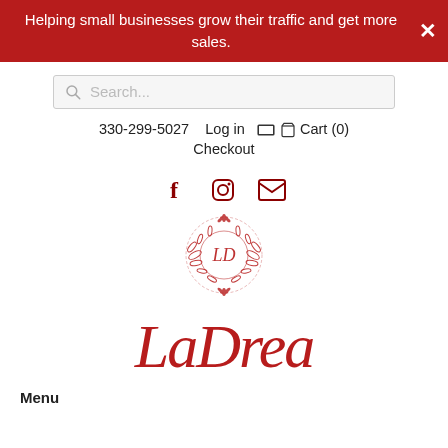Helping small businesses grow their traffic and get more sales.
Search...
330-299-5027   Log in   🛒 Cart (0)   Checkout
[Figure (logo): Social media icons: Facebook (f), Instagram, Email]
[Figure (logo): LaDrea brand logo — circular floral emblem with 'LD' initials and cursive 'LaDrea' text below, in dark red/crimson color]